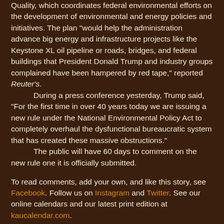Quality, which coordinates federal environmental efforts on the development of environmental and energy policies and initiatives. The plan "would help the administration advance big energy and infrastructure projects like the Keystone XL oil pipeline or roads, bridges, and federal buildings that President Donald Trump and industry groups complained have been hampered by red tape," reported Reuter's.

During a press conference yesterday, Trump said, "For the first time in over 40 years today we are issuing a new rule under the National Environmental Policy Act to completely overhaul the dysfunctional bureaucratic system that has created these massive obstructions."

The public will have 60 days to comment on the new rule one it is officially submitted.
To read comments, add your own, and like this story, see Facebook. Follow us on Instagram and Twitter. See our online calendars and our latest print edition at kaucalendar.com.
[Figure (illustration): Illustration showing an arrow pointing right with cartoon figures of people and a padlock, depicted in orange/amber color on a white background, partially visible at bottom of page.]